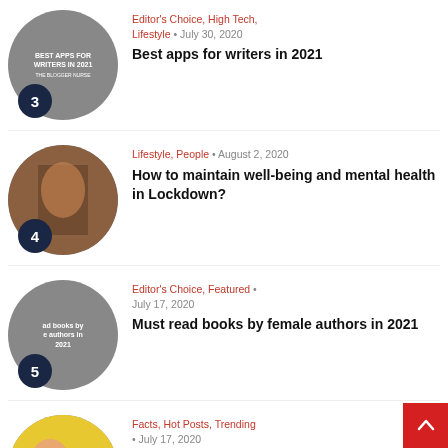Editor's Choice, High Tech, Lifestyle • July 30, 2020 — Best apps for writers in 2021
Lifestyle, People • August 2, 2020 — How to maintain well-being and mental health in Lockdown?
Editor's Choice, Featured • July 17, 2020 — Must read books by female authors in 2021
Facts, Hot Posts, Trending • July 17, 2020 — Types of philias and